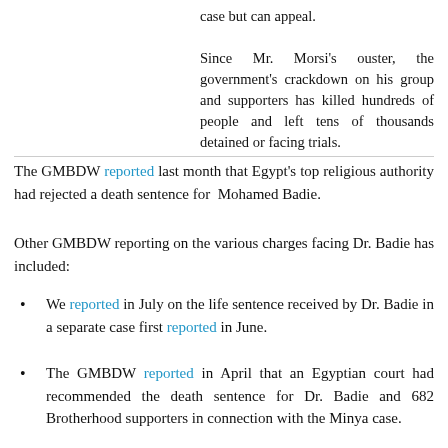case but can appeal.

Since Mr. Morsi's ouster, the government's crackdown on his group and supporters has killed hundreds of people and left tens of thousands detained or facing trials.
The GMBDW reported last month that Egypt's top religious authority had rejected a death sentence for Mohamed Badie.
Other GMBDW reporting on the various charges facing Dr. Badie has included:
We reported in July on the life sentence received by Dr. Badie in a separate case first reported in June.
The GMBDW reported in April that an Egyptian court had recommended the death sentence for Dr. Badie and 682 Brotherhood supporters in connection with the Minya case.